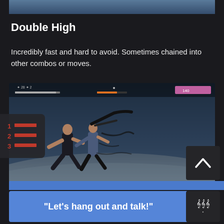[Figure (screenshot): Partial top image strip showing a snowy/icy background scene, cropped at top]
Double High
Incredibly fast and hard to avoid. Sometimes chained into other combos or moves.
[Figure (screenshot): Video game screenshot showing two fighters in combat on a snowy battlefield. A HUD overlay shows health bars and status icons. A numbered list navigation icon overlays the left side.]
“Let’s hang out and talk!”